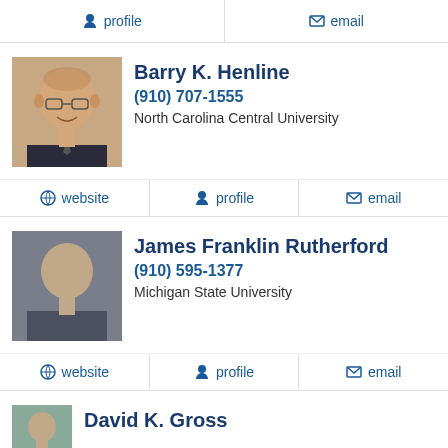profile | email
Barry K. Henline
(910) 707-1555
North Carolina Central University
website | profile | email
James Franklin Rutherford
(910) 595-1377
Michigan State University
website | profile | email
David K. Gross